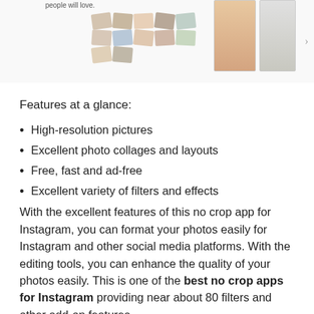[Figure (screenshot): Screenshot of a photo collage app showing scattered photo tiles and tall portrait photos, with navigation arrow. Text reads 'people will love.']
Features at a glance:
High-resolution pictures
Excellent photo collages and layouts
Free, fast and ad-free
Excellent variety of filters and effects
With the excellent features of this no crop app for Instagram, you can format your photos easily for Instagram and other social media platforms. With the editing tools, you can enhance the quality of your photos easily. This is one of the best no crop apps for Instagram providing near about 80 filters and other add-on features.
5. InSquare Pic